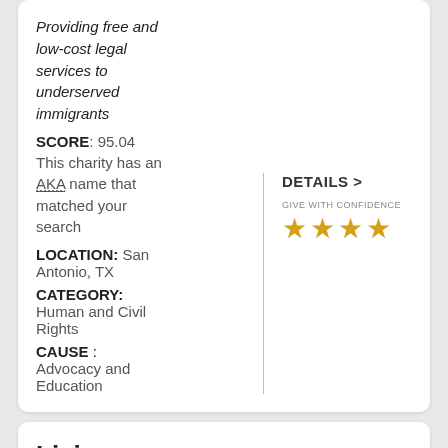Providing free and low-cost legal services to underserved immigrants
SCORE: 95.04
This charity has an AKA name that matched your search
DETAILS >
GIVE WITH CONFIDENCE ★★★★
LOCATION: San Antonio, TX
CATEGORY: Human and Civil Rights
CAUSE : Advocacy and Education
Living Beyond Breast